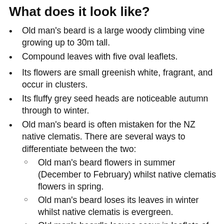What does it look like?
Old man's beard is a large woody climbing vine growing up to 30m tall.
Compound leaves with five oval leaflets.
Its flowers are small greenish white, fragrant, and occur in clusters.
Its fluffy grey seed heads are noticeable autumn through to winter.
Old man's beard is often mistaken for the NZ native clematis. There are several ways to differentiate between the two:
Old man's beard flowers in summer (December to February) whilst native clematis flowers in spring.
Old man's beard loses its leaves in winter whilst native clematis is evergreen.
Old man's beard's leaves occur in leaflets of